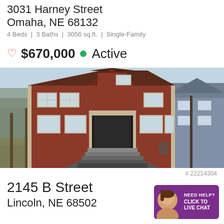3031 Harney Street
Omaha, NE 68132
4 Beds | 3 Baths | 3056 sq.ft. | Single-Family
♡ $670,000 • Active
[Figure (photo): Exterior photo of a large two-story red brick single-family home with a central entrance, front steps, and a wide concrete driveway/walkway. Bare trees visible on both sides. A neighboring gray house is visible to the right.]
# 22214304
2145 B Street
Lincoln, NE 68502